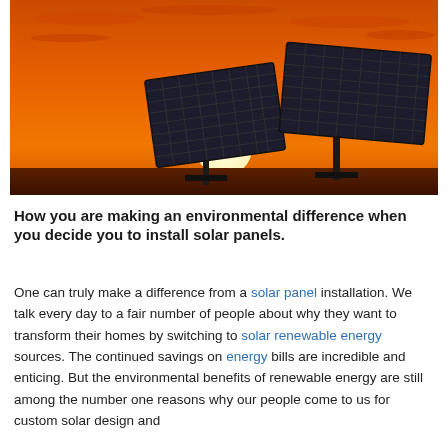[Figure (photo): Two solar panels mounted on poles silhouetted against a vivid orange sunset sky with the sun low on the horizon between the panels.]
How you are making an environmental difference when you decide you to install solar panels.
One can truly make a difference from a solar panel installation. We talk every day to a fair number of people about why they want to transform their homes by switching to solar renewable energy sources. The continued savings on energy bills are incredible and enticing. But the environmental benefits of renewable energy are still among the number one reasons why our people come to us for custom solar design and